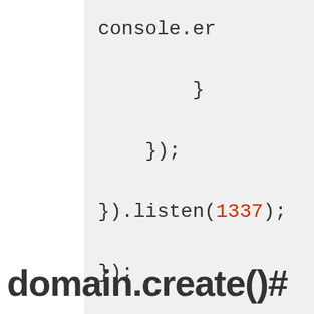console.er
            }
        });
    }).listen(1337);
});
domain.create()#